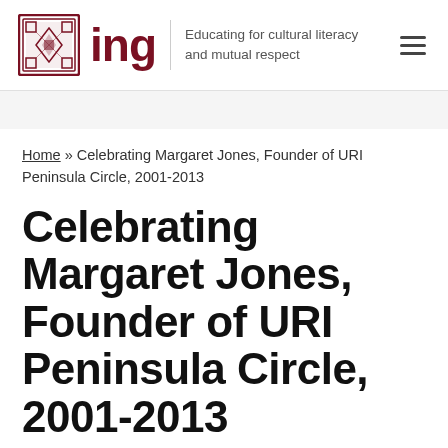ing — Educating for cultural literacy and mutual respect
Home » Celebrating Margaret Jones, Founder of URI Peninsula Circle, 2001-2013
Celebrating Margaret Jones, Founder of URI Peninsula Circle, 2001-2013